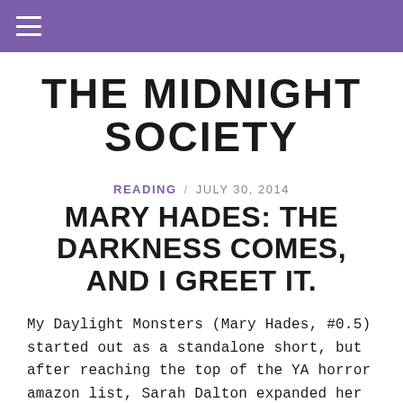THE MIDNIGHT SOCIETY
THE MIDNIGHT SOCIETY
READING / JULY 30, 2014
MARY HADES: THE DARKNESS COMES, AND I GREET IT.
My Daylight Monsters (Mary Hades, #0.5) started out as a standalone short, but after reaching the top of the YA horror amazon list, Sarah Dalton expanded her plans for the Gothic novella, birthing the Mary Hades series!